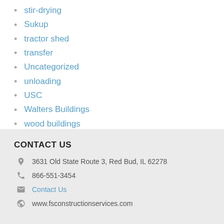stir-drying
Sukup
tractor shed
transfer
Uncategorized
unloading
USC
Walters Buildings
wood buildings
CONTACT US
3631 Old State Route 3, Red Bud, IL 62278
866-551-3454
Contact Us
www.fsconstructionservices.com